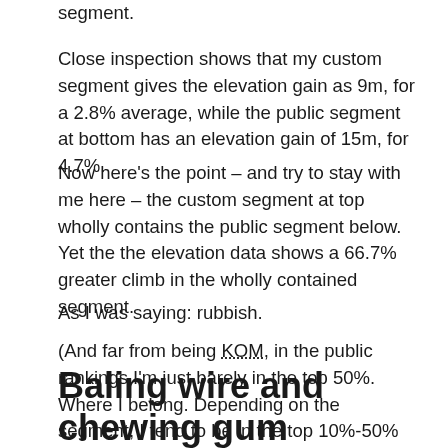segment.
Close inspection shows that my custom segment gives the elevation gain as 9m, for a 2.8% average, while the public segment at bottom has an elevation gain of 15m, for 4.7%.
Now here's the point – and try to stay with me here – the custom segment at top wholly contains the public segment below. Yet the the elevation data shows a 66.7% greater climb in the wholly contained segment.
As I was saying: rubbish.
(And far from being KOM, in the public rankings I'm just barely in the top 50%. Where I belong. Depending on the segment, I tend to be in the top 10%-50% … )
Baling wire and chewing gum